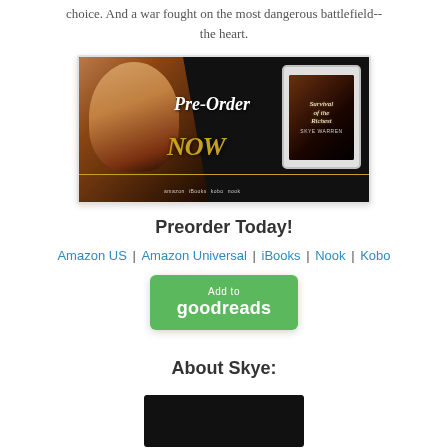choice. And a war fought on the most dangerous battlefield-- the heart.
[Figure (illustration): Book pre-order banner for 'Survival of the Richest' by Skye Warren. Dark background with damask pattern, woman in red dress on left, tablet device showing book cover on right, text 'Pre-Order NOW' in center, retailer logos at bottom (amazon, iBooks, kobo, nook).]
Preorder Today!
Amazon US | Amazon Universal | iBooks | Nook | Kobo
[Figure (other): Green 'Add to goodreads' button]
About Skye:
[Figure (photo): Author photo of Skye Warren, dark/black background image]